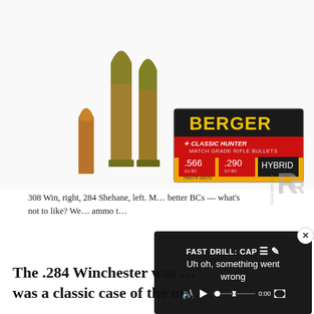[Figure (photo): Photo of three rifle cartridges standing upright (two larger, one smaller copper/brass), alongside a yellow and black box of Berger Classic Hunter Match Grade Rifle Bullets, .566 G1 BC, .290 G7 BC, Hybrid, Part# 28570]
308 Win, right, 284 Shehane, left. M… better BCs — what's not to like? We… ammo t…
[Figure (screenshot): Video overlay showing 'FAST DRILL: CAP' title with error message 'Uh oh, something went wrong', muted speaker icon, play button, X button, time 0:00, and fullscreen button]
The .284 Winchester was … was a classic case of the m…